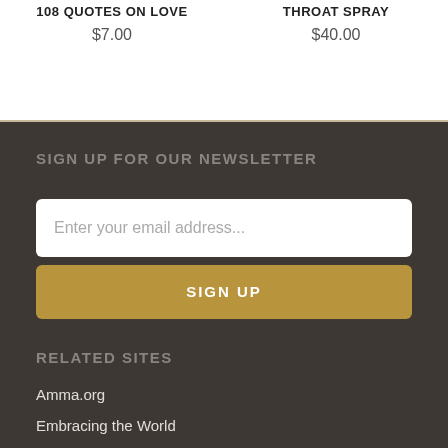108 QUOTES ON LOVE
$7.00
THROAT SPRAY
$40.00
SIGN UP FOR OUR NEWSLETTER
Enter your email address...
SIGN UP
RELATED SITES
Amma.org
Embracing the World